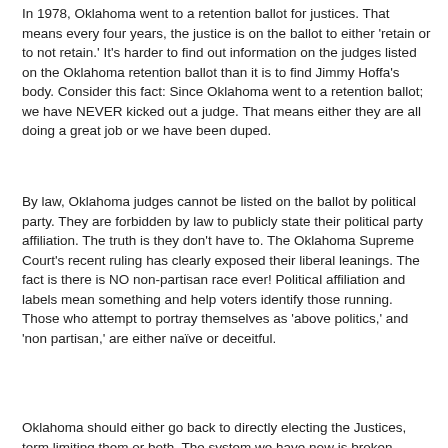In 1978, Oklahoma went to a retention ballot for justices. That means every four years, the justice is on the ballot to either 'retain or to not retain.' It's harder to find out information on the judges listed on the Oklahoma retention ballot than it is to find Jimmy Hoffa's body. Consider this fact: Since Oklahoma went to a retention ballot; we have NEVER kicked out a judge. That means either they are all doing a great job or we have been duped.
By law, Oklahoma judges cannot be listed on the ballot by political party. They are forbidden by law to publicly state their political party affiliation. The truth is they don't have to. The Oklahoma Supreme Court's recent ruling has clearly exposed their liberal leanings. The fact is there is NO non-partisan race ever! Political affiliation and labels mean something and help voters identify those running. Those who attempt to portray themselves as 'above politics,' and 'non partisan,' are either naïve or deceitful.
Oklahoma should either go back to directly electing the Justices, term limiting them or both. The system we have now is broken.